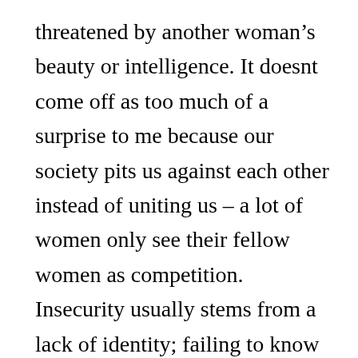threatened by another woman's beauty or intelligence. It doesnt come off as too much of a surprise to me because our society pits us against each other instead of uniting us – a lot of women only see their fellow women as competition. Insecurity usually stems from a lack of identity; failing to know who and whose you are. I still have a long way to go, but I am certainly no longer the insecure girl I once was. I have grown to accept myself more, and scripture helped me with that.